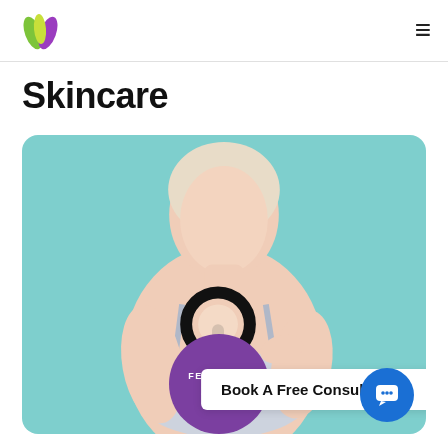[Figure (logo): Colorful leaf/petal logo in green, purple and yellow-green]
Skincare
[Figure (photo): Woman in grey bra top examining her skin with a magnifying glass against a teal background. A purple circular badge overlaid shows 'FEBRUARY 2022'. A white button reads 'Book A Free Consultation'. A blue chat button is in bottom right corner.]